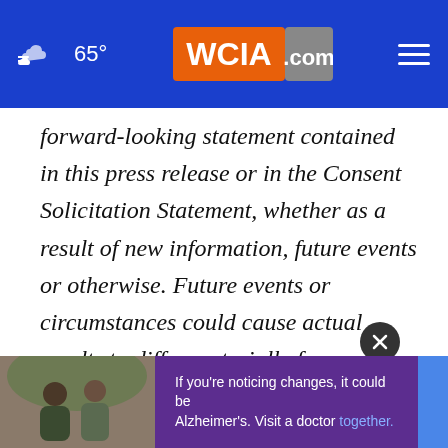WCIA.com — 65° weather header navigation
forward-looking statement contained in this press release or in the Consent Solicitation Statement, whether as a result of new information, future events or otherwise. Future events or circumstances could cause actual results to differ materially from historical results or those anticipated.
SOURCE Petróleos del Perú - Petroperú S.A.
[Figure (screenshot): Advertisement banner: photo of two men outdoors, purple background with text 'If you're noticing changes, it could be Alzheimer's. Visit a doctor together.']